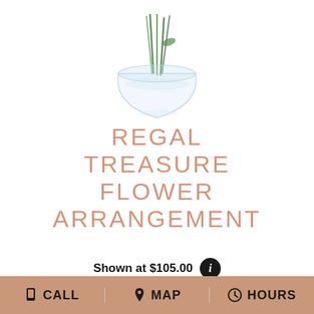[Figure (photo): Partial view of a floral arrangement in a round glass fishbowl vase with green stems visible, cropped at top]
REGAL TREASURE FLOWER ARRANGEMENT
Shown at $105.00
BUY NOW
[Figure (photo): Partial view of a pink and purple flower arrangement with an orange rose, cropped at bottom]
CALL   MAP   HOURS